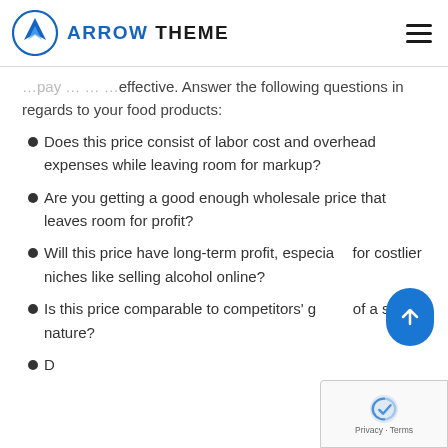ARROW THEME
effective. Answer the following questions in regards to your food products:
Does this price consist of labor cost and overhead expenses while leaving room for markup?
Are you getting a good enough wholesale price that leaves room for profit?
Will this price have long-term profit, especially for costlier niches like selling alcohol online?
Is this price comparable to competitors' goods of a similar nature?
Does a pricing model with our pricing about it...